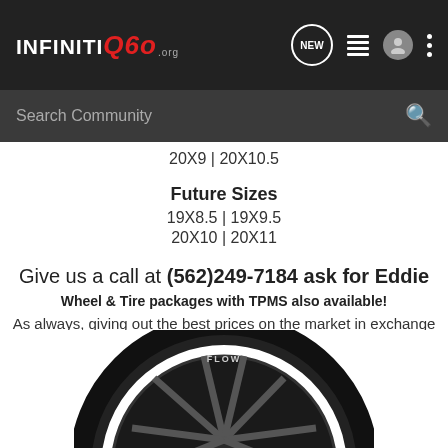INFINITI Q60 .org — navigation bar with NEW, list, user, dots icons
Search Community
20X9 | 20X10.5
Future Sizes
19X8.5 | 19X9.5
20X10 | 20X11
Give us a call at (562)249-7184 ask for Eddie
Wheel & Tire packages with TPMS also available!
As always, giving out the best prices on the market in exchange for some awesome installed photos and review!
[Figure (photo): Partial view of a dark/black multi-spoke wheel (FLOW brand) at the bottom of the page]